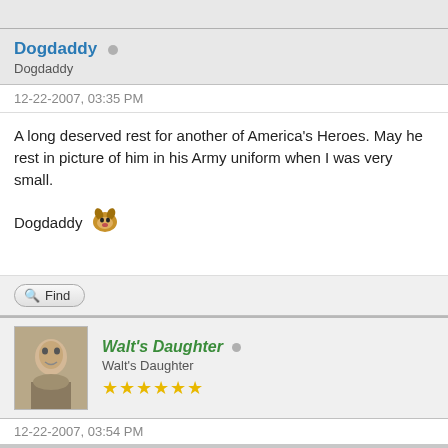Dogdaddy
Dogdaddy
12-22-2007, 03:35 PM
A long deserved rest for another of America's Heroes. May he rest in picture of him in his Army uniform when I was very small.
Dogdaddy
Find
Walt's Daughter
Walt's Daughter
★★★★★★
12-22-2007, 03:54 PM